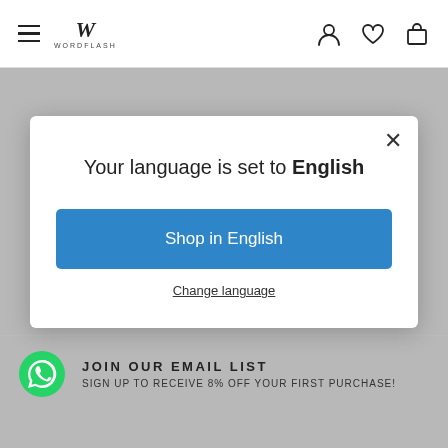[Figure (screenshot): Website header with hamburger menu, W logo (Wordflash), user icon, heart/wishlist icon, and shopping bag icon]
[Figure (screenshot): Modal dialog with close X button, text 'Your language is set to English', blue 'Shop in English' button, and 'Change language' underlined link]
Your language is set to English
Shop in English
Change language
JOIN OUR EMAIL LIST
SIGN UP TO RECEIVE 8% OFF YOUR FIRST PURCHASE!